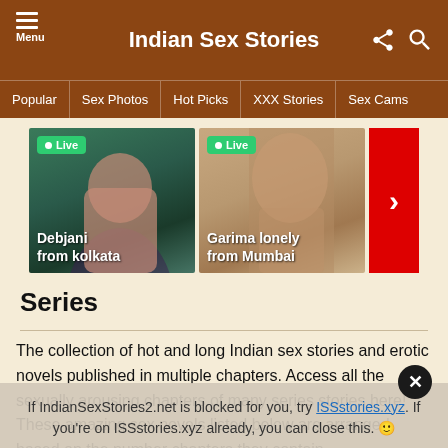Indian Sex Stories
Popular | Sex Photos | Hot Picks | XXX Stories | Sex Cams
[Figure (photo): Two live cam thumbnails showing women labeled 'Debjani from kolkata' and 'Garima lonely from Mumbai' with Live badges and a red next arrow button]
Series
The collection of hot and long Indian sex stories and erotic novels published in multiple chapters. Access all the sexually arousing chapters of many series stories here! These amazing sex novels listed below are arranged based on the number chapters they contain.
If IndianSexStories2.net is blocked for you, try ISSstories.xyz. If you're on ISSstories.xyz already, you can close this. 🙂